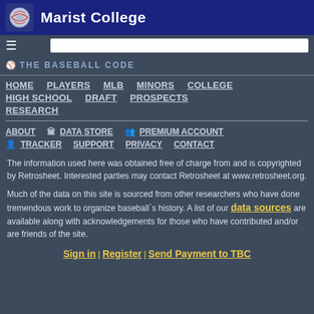Marist College
[Figure (screenshot): Navigation bar with hamburger menu icon and search input box]
THE BASEBALL CODE
HOME  PLAYERS  MLB  MINORS  COLLEGE  HIGH SCHOOL  DRAFT  PROSPECTS  RESEARCH
ABOUT  DATA STORE  PREMIUM ACCOUNT  TRACKER  SUPPORT  PRIVACY  CONTACT
The information used here was obtained free of charge from and is copyrighted by Retrosheet. Interested parties may contact Retrosheet at www.retrosheet.org.
Much of the data on this site is sourced from other researchers who have done tremendous work to organize baseball's history. A list of our data sources are available along with acknowledgements for those who have contributed and/or are friends of the site.
Sign in | Register | Send Payment to TBC